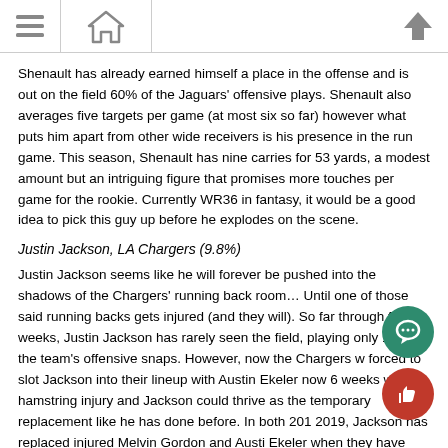[navigation bar with menu, home, and up icons]
Shenault has already earned himself a place in the offense and is out on the field 60% of the Jaguars' offensive plays. Shenault also averages five targets per game (at most six so far) however what puts him apart from other wide receivers is his presence in the run game. This season, Shenault has nine carries for 53 yards, a modest amount but an intriguing figure that promises more touches per game for the rookie. Currently WR36 in fantasy, it would be a good idea to pick this guy up before he explodes on the scene.
Justin Jackson, LA Chargers (9.8%)
Justin Jackson seems like he will forever be pushed into the shadows of the Chargers' running back room… Until one of those said running backs gets injured (and they will). So far through four weeks, Justin Jackson has rarely seen the field, playing only 11% of the team's offensive snaps. However, now the Chargers w forced to slot Jackson into their lineup with Austin Ekeler now 6 weeks with a hamstring injury and Jackson could thrive as the temporary replacement like he has done before. In both 2018 2019, Jackson has replaced injured Melvin Gordon and Austi Ekeler when they have gone down. In 2018, he averaged 4.1 yards